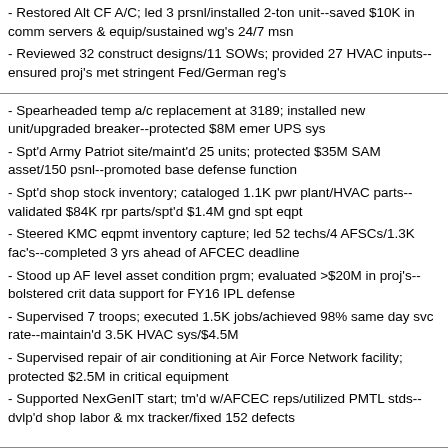- Restored Alt CF A/C; led 3 prsnl/installed 2-ton unit--saved $10K in comm servers & equip/sustained wg's 24/7 msn
- Reviewed 32 construct designs/11 SOWs; provided 27 HVAC inputs--ensured proj's met stringent Fed/German reg's
- Spearheaded temp a/c replacement at 3189; installed new unit/upgraded breaker--protected $8M emer UPS sys
- Spt'd Army Patriot site/maint'd 25 units; protected $35M SAM asset/150 psnl--promoted base defense function
- Spt'd shop stock inventory; cataloged 1.1K pwr plant/HVAC parts--validated $84K rpr parts/spt'd $1.4M gnd spt eqpt
- Steered KMC eqpmt inventory capture; led 52 techs/4 AFSCs/1.3K fac's--completed 3 yrs ahead of AFCEC deadline
- Stood up AF level asset condition prgm; evaluated >$20M in proj's--bolstered crit data support for FY16 IPL defense
- Supervised 7 troops; executed 1.5K jobs/achieved 98% same day svc rate--maintain'd 3.5K HVAC sys/$4.5M
- Supervised repair of air conditioning at Air Force Network facility; protected $2.5M in critical equipment
- Supported NexGenIT start; tm'd w/AFCEC reps/utilized PMTL stds--dvlp'd shop labor & mx tracker/fixed 152 defects